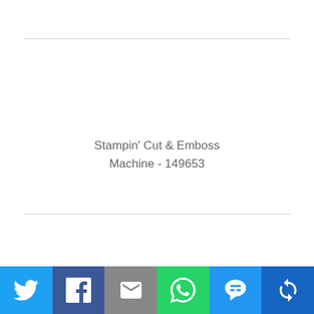[Figure (other): Product image placeholder area with horizontal divider lines above and below]
Stampin' Cut & Emboss Machine - 149653
Add to Cart
[Figure (infographic): Social sharing bar with Twitter, Facebook, Email, WhatsApp, SMS, and Share buttons]